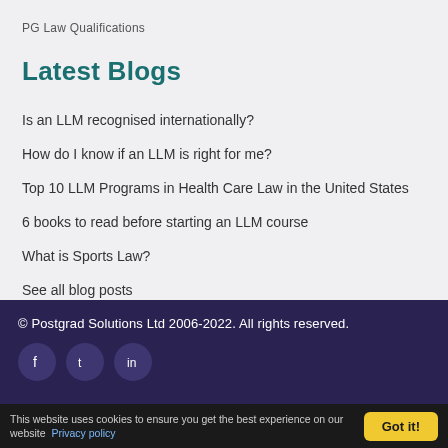PG Law Qualifications
Latest Blogs
Is an LLM recognised internationally?
How do I know if an LLM is right for me?
Top 10 LLM Programs in Health Care Law in the United States
6 books to read before starting an LLM course
What is Sports Law?
See all blog posts
© Postgrad Solutions Ltd 2006-2022. All rights reserved.
This website uses cookies to ensure you get the best experience on our website  Privacy policy